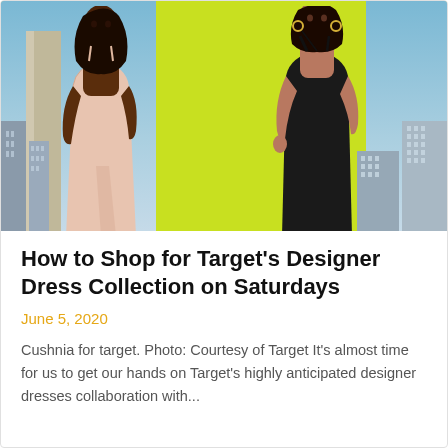[Figure (photo): Two female models wearing dresses against an outdoor urban background. Left model wears a light pink satin slip dress, right model wears a black form-fitting dress. A bright yellow-green rectangular backdrop is behind them. City buildings and blue sky visible in background.]
How to Shop for Target's Designer Dress Collection on Saturdays
June 5, 2020
Cushnia for target. Photo: Courtesy of Target It's almost time for us to get our hands on Target's highly anticipated designer dresses collaboration with...